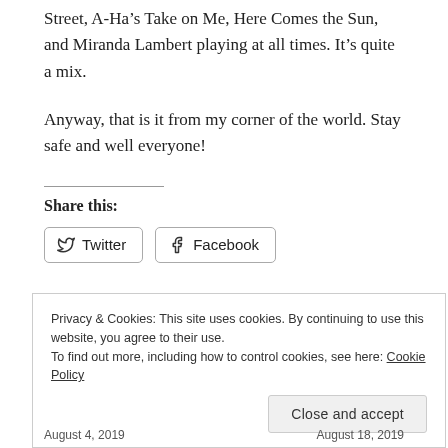Street, A-Ha’s Take on Me, Here Comes the Sun, and Miranda Lambert playing at all times. It’s quite a mix.
Anyway, that is it from my corner of the world. Stay safe and well everyone!
Share this:
Twitter   Facebook
Privacy & Cookies: This site uses cookies. By continuing to use this website, you agree to their use.
To find out more, including how to control cookies, see here: Cookie Policy
Close and accept
August 4, 2019   August 18, 2019